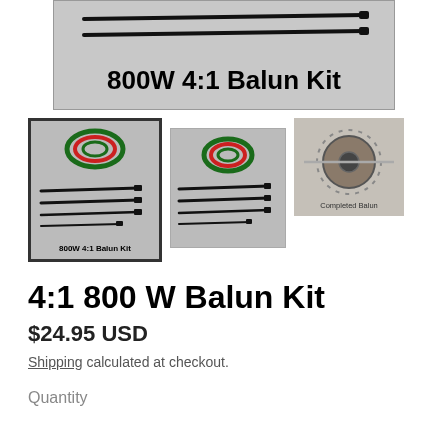[Figure (photo): Main product image showing cable ties and toroid core with bold text '800W 4:1 Balun Kit' overlay]
[Figure (photo): Thumbnail 1 (selected): Kit contents with coiled wire and cable ties, labeled '800W 4:1 Balun Kit']
[Figure (photo): Thumbnail 2: Same kit contents with coiled wire and cable ties]
[Figure (photo): Thumbnail 3: Completed balun (assembled toroid), labeled 'Completed Balun']
4:1 800 W Balun Kit
$24.95 USD
Shipping calculated at checkout.
Quantity